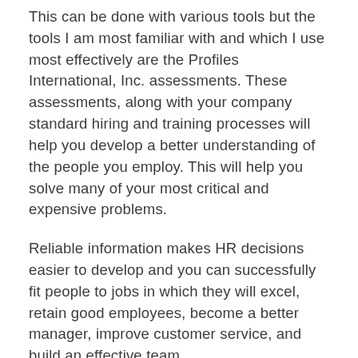This can be done with various tools but the tools I am most familiar with and which I use most effectively are the Profiles International, Inc. assessments. These assessments, along with your company standard hiring and training processes will help you develop a better understanding of the people you employ. This will help you solve many of your most critical and expensive problems.
Reliable information makes HR decisions easier to develop and you can successfully fit people to jobs in which they will excel, retain good employees, become a better manager, improve customer service, and build an effective team.
The foundation of your success is the best use of your assets. If you talk to any management expert, they will tell you that your human capital (your employees) is your most valuable asset. The problem is that only a small